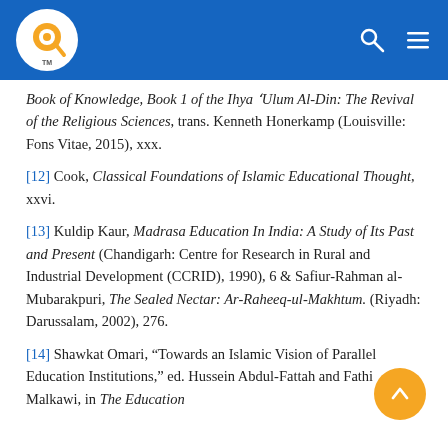Q logo, search icon, menu icon
[11] Book of Knowledge, Book 1 of the Ihya 'Ulum Al-Din: The Revival of the Religious Sciences, trans. Kenneth Honerkamp (Louisville: Fons Vitae, 2015), xxx.
[12] Cook, Classical Foundations of Islamic Educational Thought, xxvi.
[13] Kuldip Kaur, Madrasa Education In India: A Study of Its Past and Present (Chandigarh: Centre for Research in Rural and Industrial Development (CCRID), 1990), 6 & Safiur-Rahman al-Mubarakpuri, The Sealed Nectar: Ar-Raheeq-ul-Makhtum. (Riyadh: Darussalam, 2002), 276.
[14] Shawkat Omari, “Towards an Islamic Vision of Parallel Education Institutions,” ed. Hussein Abdul-Fattah and Fathi Malkawi, in The Education